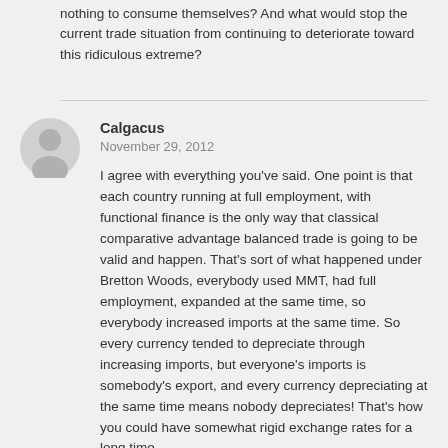nothing to consume themselves? And what would stop the current trade situation from continuing to deteriorate toward this ridiculous extreme?
Calgacus
November 29, 2012
I agree with everything you've said. One point is that each country running at full employment, with functional finance is the only way that classical comparative advantage balanced trade is going to be valid and happen. That's sort of what happened under Bretton Woods, everybody used MMT, had full employment, expanded at the same time, so everybody increased imports at the same time. So every currency tended to depreciate through increasing imports, but everyone's imports is somebody's export, and every currency depreciating at the same time means nobody depreciates! That's how you could have somewhat rigid exchange rates for a long time.
There's no particular reason for a common currency to evolve. But since trade and productivity should change relatively slowly &